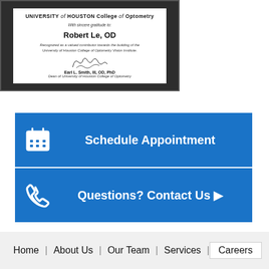[Figure (photo): Framed award certificate from University of Houston College of Optometry recognizing Robert Le, OD as a valued contributor to the Vision Institute, signed by Earl L. Smith, III, OD, PhD, Dean.]
Schedule Appointment
Questions? Contact Us ▶
Home | About Us | Our Team | Services | Careers